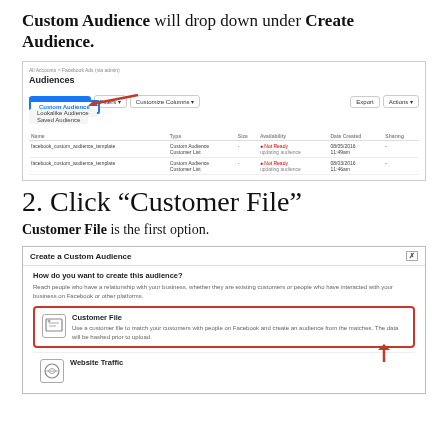Custom Audience will drop down under Create Audience.
[Figure (screenshot): Facebook Ads Manager Audiences panel showing Create Audience dropdown with Custom Audience option highlighted and a red arrow pointing to it.]
2. Click “Customer File”
Customer File is the first option.
[Figure (screenshot): Facebook Create a Custom Audience dialog with Customer File option highlighted by a red border and a red arrow pointing to it. Customer File description: Use a customer file to match your customers with people on Facebook and create an audience from the matches. The data will be hashed prior to upload.]